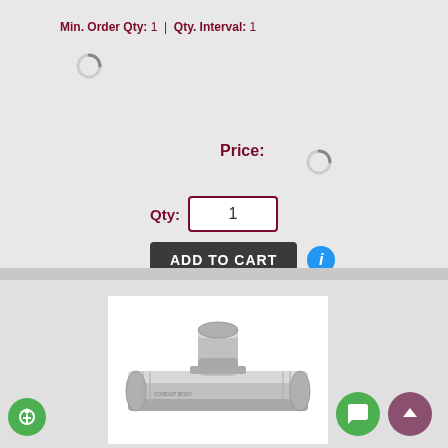Min. Order Qty: 1 | Qty. Interval: 1
Price:
Qty: 1
ADD TO CART
[Figure (photo): Product photo of a metal pipe fitting (T-connector), shown at partial crop from bottom of page]